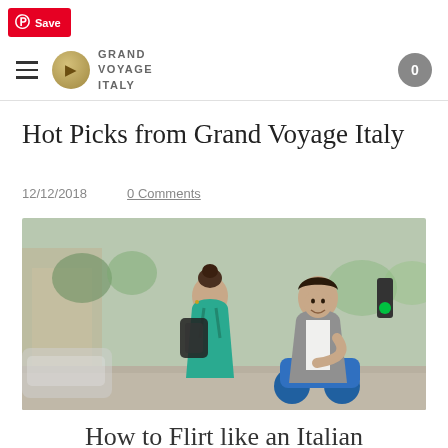Save
GRAND VOYAGE ITALY  0
Hot Picks from Grand Voyage Italy
12/12/2018    0 Comments
[Figure (photo): A woman in a teal top with a black backpack talking to a man leaning on a blue scooter on a city street]
How to Flirt like an Italian